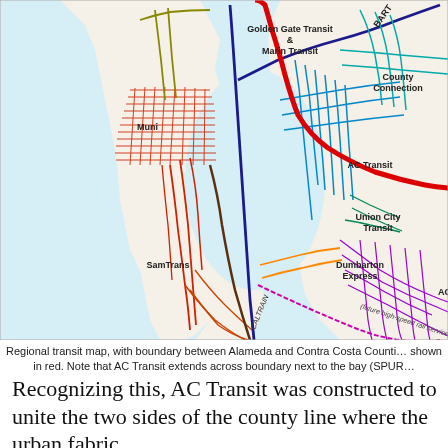[Figure (map): Regional transit map of the San Francisco Bay Area showing transit agency service areas and routes. Labels include Golden Gate Transit & Marin Transit (top center-left), BART (top right diagonal), County Connection (top right), Muni (center-left with dense red grid), AC Transit (center-right), SamTrans (lower center-left), Caltrain (lower center, diagonal label), Union City Transit (right center), Dumbarton Express (lower right center), and a note for 'future high-speed rail service' along the diagonal. The boundary between Alameda and Contra Costa Counties is highlighted in red/thick red line.]
Regional transit map, with boundary between Alameda and Contra Costa Counties shown in red. Note that AC Transit extends across boundary next to the bay (SPUR...
Recognizing this, AC Transit was constructed to unite the two sides of the county line where the urban fabric